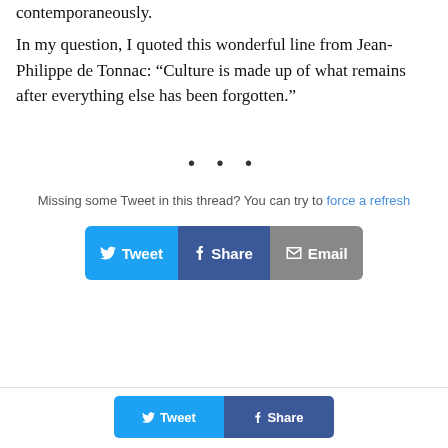contemporaneously.
In my question, I quoted this wonderful line from Jean-Philippe de Tonnac: “Culture is made up of what remains after everything else has been forgotten.”
• • •
Missing some Tweet in this thread? You can try to force a refresh
[Figure (other): Social share buttons: Tweet (Twitter), Share (Facebook), Email]
[Figure (other): Footer social share buttons: Tweet (Twitter), Share (Facebook)]